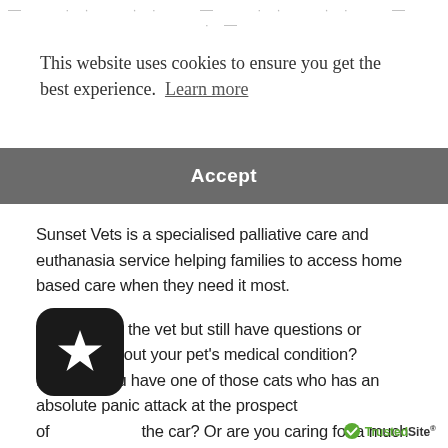— · · · · · · · · · — — · · · · · · · · — · · · —
This website uses cookies to ensure you get the best experience. Learn more
Accept
Sunset Vets is a specialised palliative care and euthanasia service helping families to access home based care when they need it most.
Just been to the vet but still have questions or concerns about your pet's medical condition? Perhaps you have one of those cats who has an absolute panic attack at the prospect of the car? Or are you caring for a much loved family member who has been unwell and is approaching the end of their life?
[Figure (logo): App icon: black rounded square with a white star in the center]
[Figure (logo): TrustedSite badge with green checkmark]